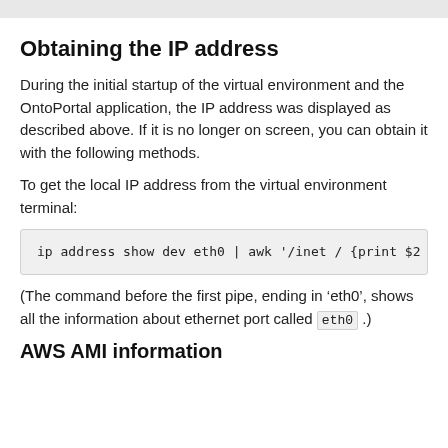Obtaining the IP address
During the initial startup of the virtual environment and the OntoPortal application, the IP address was displayed as described above. If it is no longer on screen, you can obtain it with the following methods.
To get the local IP address from the virtual environment terminal:
ip address show dev eth0 | awk '/inet / {print $2
(The command before the first pipe, ending in ‘eth0’, shows all the information about ethernet port called eth0 .)
AWS AMI information